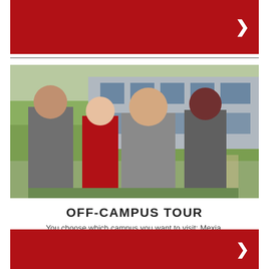[Figure (other): Red banner header with white chevron arrow on the right]
[Figure (photo): Four college students (three in grey jackets, one in red polo) posing outdoors in front of a building with large windows and green lawn]
OFF-CAMPUS TOUR
You choose which campus you want to visit: Mexia, Midlothian, Waxahachie
You and your guests will get a guided walking tour of our beautiful grounds & facilities. There is no better way to learn about Navarro College!
[Figure (other): Red banner footer with white chevron arrow on the right]